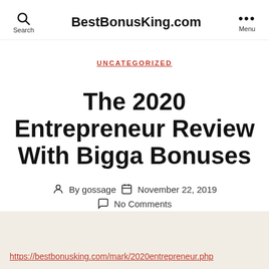BestBonusKing.com
UNCATEGORIZED
The 2020 Entrepreneur Review With Bigga Bonuses
By gossage  November 22, 2019  No Comments
https://bestbonusking.com/mark/2020entrepreneur.php